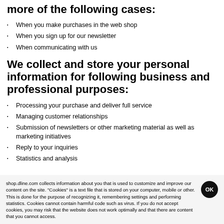more of the following cases:
When you make purchases in the web shop
When you sign up for our newsletter
When communicating with us
We collect and store your personal information for following business and professional purposes:
Processing your purchase and deliver full service
Managing customer relationships
Submission of newsletters or other marketing material as well as marketing initiatives
Reply to your inquiries
Statistics and analysis
shop.dline.com collects information about you that is used to customize and improve our content on the site. "Cookies" is a text file that is stored on your computer, mobile or other. This is done for the purpose of recognizing it, remembering settings and performing statistics. Cookies cannot contain harmful code such as virus. If you do not accept cookies, you may risk that the website does not work optimally and that there are content that you cannot access.